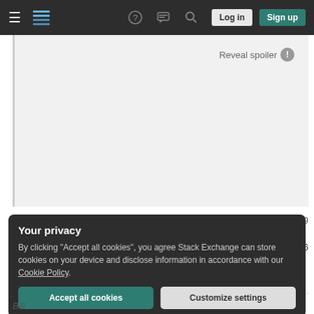Stack Exchange navigation bar with hamburger menu, logo, help icon, chat icon, search icon, Log in and Sign up buttons
[Figure (screenshot): Spoiler content area with light gray background showing 'Reveal spoiler' button with exclamation icon]
Share
Improve this answer
Follow
answered Feb 18, 2019 at 19:09
El-Guest 32.2k gold:3 silver:80 bronze:126
Add a comment
Your privacy
By clicking "Accept all cookies", you agree Stack Exchange can store cookies on your device and disclose information in accordance with our Cookie Policy.
Accept all cookies
Customize settings
Bill